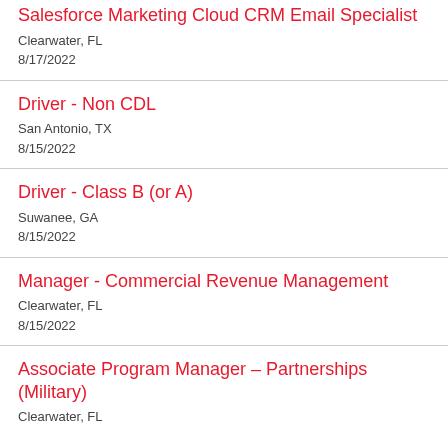Salesforce Marketing Cloud CRM Email Specialist
Clearwater, FL
8/17/2022
Driver - Non CDL
San Antonio, TX
8/15/2022
Driver - Class B (or A)
Suwanee, GA
8/15/2022
Manager - Commercial Revenue Management
Clearwater, FL
8/15/2022
Associate Program Manager – Partnerships (Military)
Clearwater, FL